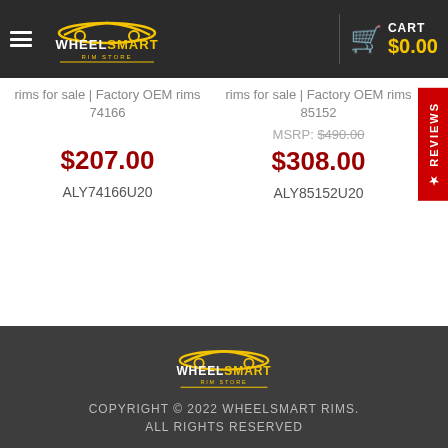WheelSmart Rim Store — CART $0.00
rims for sale | Factory OEM rims 74166
$207.00
ALY74166U20
rims for sale | Factory OEM rims 85152
MSRP: $490.00
$308.00
ALY85152U20
COPYRIGHT © 2022 WHEELSMART RIMS. ALL RIGHTS RESERVED